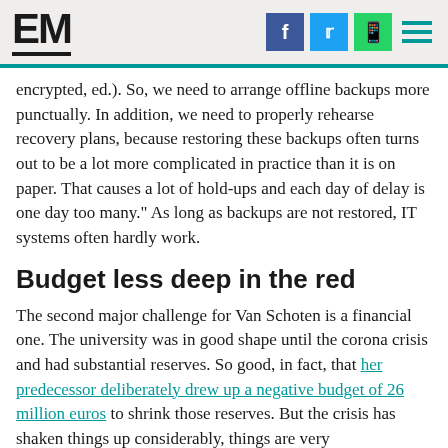EM [logo] | Facebook | Twitter | WhatsApp | Menu
encrypted, ed.). So, we need to arrange offline backups more punctually. In addition, we need to properly rehearse recovery plans, because restoring these backups often turns out to be a lot more complicated in practice than it is on paper. That causes a lot of hold-ups and each day of delay is one day too many." As long as backups are not restored, IT systems often hardly work.
Budget less deep in the red
The second major challenge for Van Schoten is a financial one. The university was in good shape until the corona crisis and had substantial reserves. So good, in fact, that her predecessor deliberately drew up a negative budget of 26 million euros to shrink those reserves. But the crisis has shaken things up considerably, things are very